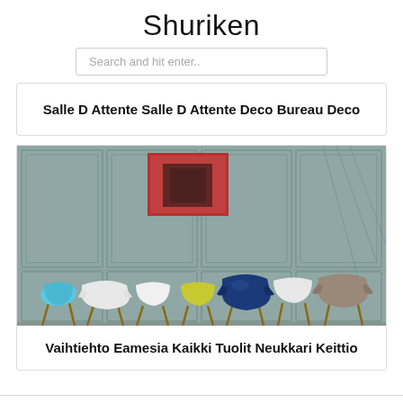Shuriken
Search and hit enter..
Salle D Attente Salle D Attente Deco Bureau Deco
[Figure (photo): Multiple colorful modern chairs (Eames-style) in blue, white, yellow, navy, and taupe arranged in a row against a grey paneled wall with a red-framed artwork hanging above.]
Vaihtiehto Eamesia Kaikki Tuolit Neukkari Keittio